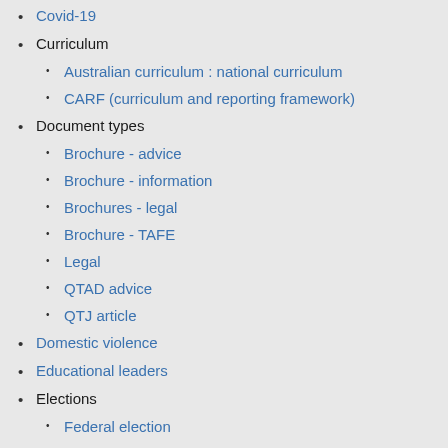Covid-19 (link, cut off)
Curriculum
Australian curriculum : national curriculum
CARF (curriculum and reporting framework)
Document types
Brochure - advice
Brochure - information
Brochures - legal
Brochure - TAFE
Legal
QTAD advice
QTJ article
Domestic violence
Educational leaders
Elections
Federal election
State election
QTU election
AEUQ election
Gender equity
HAT and I.T. (cut off)